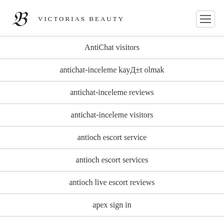Victorias Beauty
AntiChat visitors
antichat-inceleme kayД±t olmak
antichat-inceleme reviews
antichat-inceleme visitors
antioch escort service
antioch escort services
antioch live escort reviews
apex sign in
apex visitors